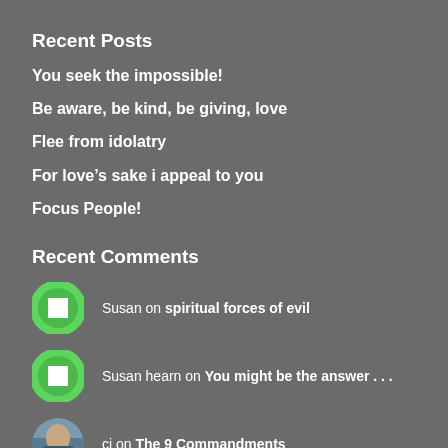Recent Posts
You seek the impossible!
Be aware, be kind, be giving, love
Flee from idolatry
For love's sake i appeal to you
Focus People!
Recent Comments
Susan on spiritual forces of evil
Susan hearn on You might be the answer . . .
cj on The 9 Commandments